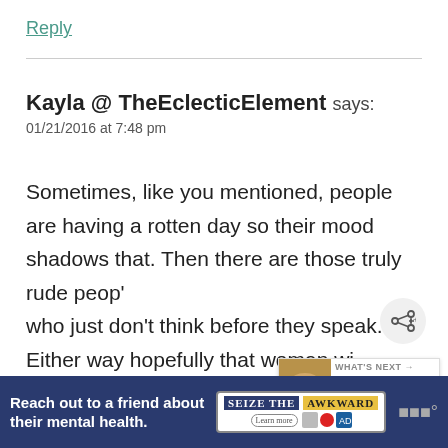Reply
Kayla @ TheEclecticElement says:
01/21/2016 at 7:48 pm
Sometimes, like you mentioned, people are having a rotten day so their mood shadows that. Then there are those truly rude peop' who just don't think before they speak. Either way hopefully that woman wi… crazed kids has an epiphany later on, and re…
[Figure (other): What's Next widget showing French Onion Chicken Bake with a food thumbnail image]
[Figure (other): Share button (circular button with share icon)]
Reach out to a friend about their mental health. Learn more – SEIZE THE AWKWARD advertisement banner